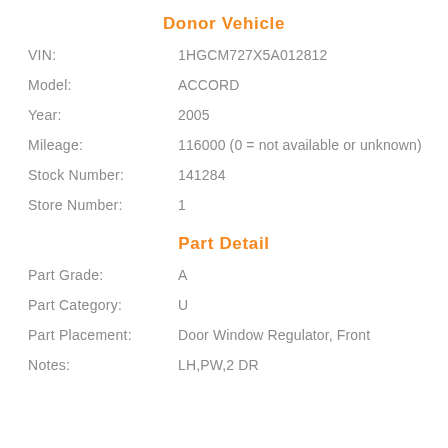Donor Vehicle
VIN: 1HGCM727X5A012812
Model: ACCORD
Year: 2005
Mileage: 116000 (0 = not available or unknown)
Stock Number: 141284
Store Number: 1
Part Detail
Part Grade: A
Part Category: U
Part Placement: Door Window Regulator, Front
Notes: LH,PW,2 DR